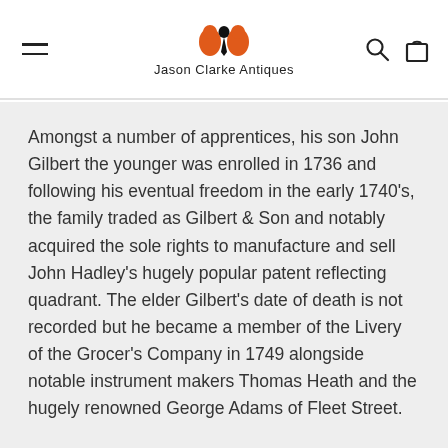Jason Clarke Antiques
Amongst a number of apprentices, his son John Gilbert the younger was enrolled in 1736 and following his eventual freedom in the early 1740's, the family traded as Gilbert & Son and notably acquired the sole rights to manufacture and sell John Hadley's hugely popular patent reflecting quadrant. The elder Gilbert's date of death is not recorded but he became a member of the Livery of the Grocer's Company in 1749 alongside notable instrument makers Thomas Heath and the hugely renowned George Adams of Fleet Street.
It seems fairly certain that the younger was trading under his own name by the 1750's and he maintained